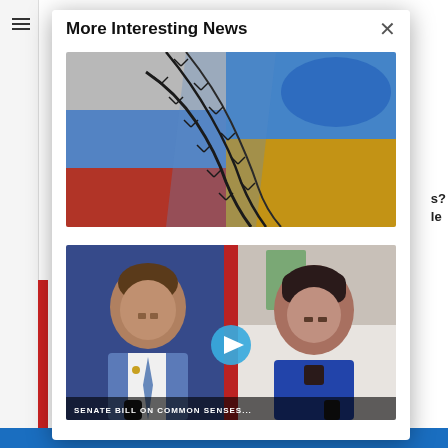More Interesting News
[Figure (photo): Russian and Ukrainian flags merged together with barbed wire across them, symbolizing conflict between Russia and Ukraine.]
[Figure (screenshot): Video thumbnail showing two people in a split-screen interview format — a man in a blue suit with a tie on the left, and a woman in a blue outfit on the right. A play button is visible in the center. A text bar with partially visible text appears at the bottom.]